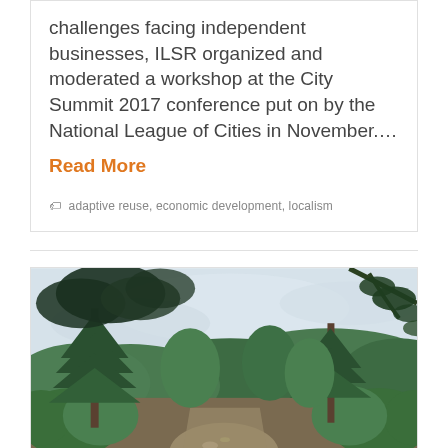challenges facing independent businesses, ILSR organized and moderated a workshop at the City Summit 2017 conference put on by the National League of Cities in November.…
Read More
adaptive reuse, economic development, localism
[Figure (photo): Outdoor nature photograph showing a forest path or dry creek bed surrounded by lush green trees including pine trees, with hills visible in the background and an overcast sky.]